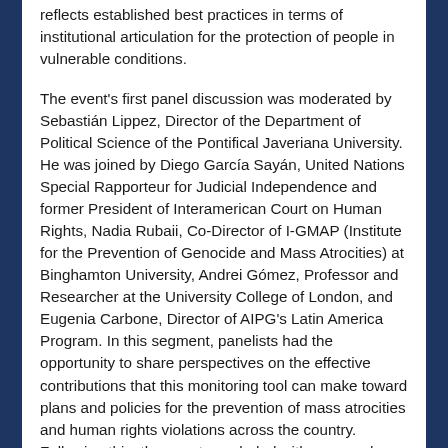reflects established best practices in terms of institutional articulation for the protection of people in vulnerable conditions.
The event's first panel discussion was moderated by Sebastián Lippez, Director of the Department of Political Science of the Pontifical Javeriana University. He was joined by Diego García Sayán, United Nations Special Rapporteur for Judicial Independence and former President of Interamerican Court on Human Rights, Nadia Rubaii, Co-Director of I-GMAP (Institute for the Prevention of Genocide and Mass Atrocities) at Binghamton University, Andrei Gómez, Professor and Researcher at the University College of London, and Eugenia Carbone, Director of AIPG's Latin America Program. In this segment, panelists had the opportunity to share perspectives on the effective contributions that this monitoring tool can make toward plans and policies for the prevention of mass atrocities and human rights violations across the country. Following this, the event concluded with a second panel of experts who addressed the conditions related to the safety of both